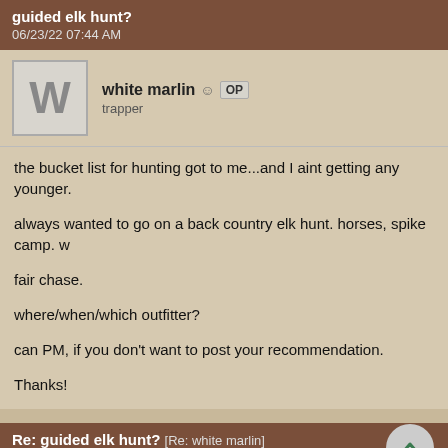guided elk hunt?
06/23/22 07:44 AM
white marlin OP
trapper
the bucket list for hunting got to me...and I aint getting any younger.

always wanted to go on a back country elk hunt. horses, spike camp. w

fair chase.

where/when/which outfitter?

can PM, if you don't want to post your recommendation.

Thanks!
Re: guided elk hunt? [Re: white marlin]
06/23/22 09:38 AM
nywrangler